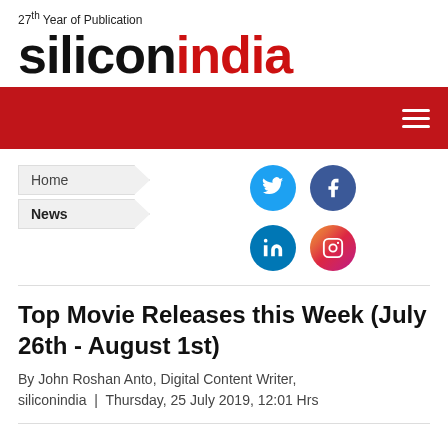27th Year of Publication
siliconindia
[Figure (other): Red navigation bar with hamburger menu icon (three horizontal lines) on the right]
Home
News
[Figure (infographic): Social media icons: Twitter (blue circle), Facebook (dark blue circle), LinkedIn (blue circle), Instagram (gradient circle)]
Top Movie Releases this Week (July 26th - August 1st)
By John Roshan Anto, Digital Content Writer, siliconindia  |  Thursday, 25 July 2019, 12:01 Hrs